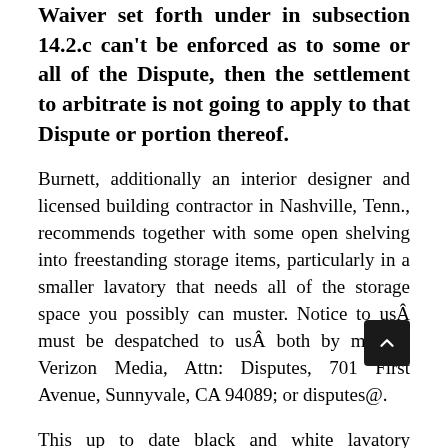Waiver set forth under in subsection 14.2.c can't be enforced as to some or all of the Dispute, then the settlement to arbitrate is not going to apply to that Dispute or portion thereof.
Burnett, additionally an interior designer and licensed building contractor in Nashville, Tenn., recommends together with some open shelving into freestanding storage items, particularly in a smaller lavatory that needs all of the storage space you possibly can muster. Notice to usÂ must be despatched to usÂ both by mail to Verizon Media, Attn: Disputes, 701 First Avenue, Sunnyvale, CA 94089; or disputes@.
This up to date black and white lavatory includes a bold flooring tile, with vivid white tile overlaying the